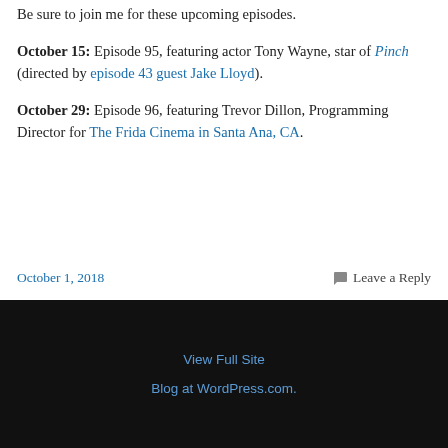Be sure to join me for these upcoming episodes.
October 15:  Episode 95, featuring actor Tony Wayne, star of Pinch (directed by episode 43 guest Jake Lloyd).
October 29:  Episode 96, featuring Trevor Dillon, Programming Director for The Frida Cinema in Santa Ana, CA.
October 1, 2018    Leave a Reply
View Full Site
Blog at WordPress.com.